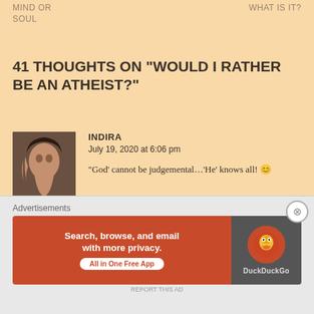MIND OR SOUL
WHAT IS IT?
41 THOUGHTS ON “WOULD I RATHER BE AN ATHEIST?”
INDIRA
July 19, 2020 at 6:06 pm
“God’ cannot be judgemental…‘He’ knows all! 😊
★ Liked by 6 people
[Figure (screenshot): DuckDuckGo advertisement banner: 'Search, browse, and email with more privacy. All in One Free App' with DuckDuckGo logo on dark background]